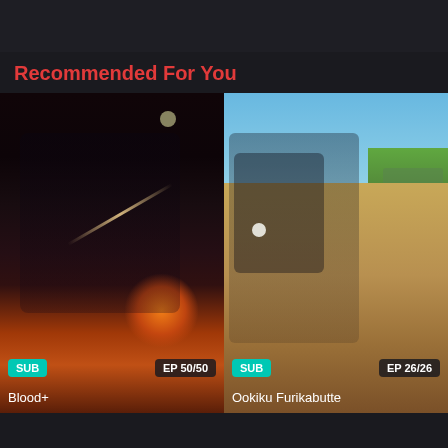Recommended For You
[Figure (screenshot): Anime show card for Blood+ showing dark gothic anime scene with two characters and glowing orange light, with SUB badge and EP 50/50 badge, title Blood+]
[Figure (screenshot): Anime show card for Ookiku Furikabutte showing baseball anime scene with catcher and pitcher, outdoor bright daylight field setting, with SUB badge and EP 26/26 badge, title Ookiku Furikabutte]